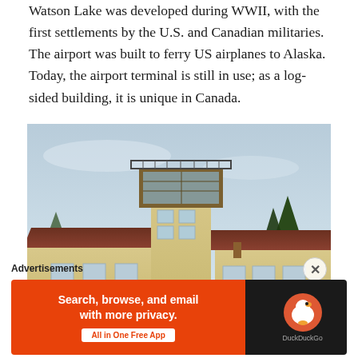Watson Lake was developed during WWII, with the first settlements by the U.S. and Canadian militaries. The airport was built to ferry US airplanes to Alaska. Today, the airport terminal is still in use; as a log-sided building, it is unique in Canada.
[Figure (photo): Photograph of the Watson Lake airport terminal building, a log-sided structure with a control tower, brown roof, and yellow siding. Trees visible in background against a hazy sky.]
Advertisements
[Figure (screenshot): DuckDuckGo advertisement banner: 'Search, browse, and email with more privacy. All in One Free App' with DuckDuckGo logo on dark background.]